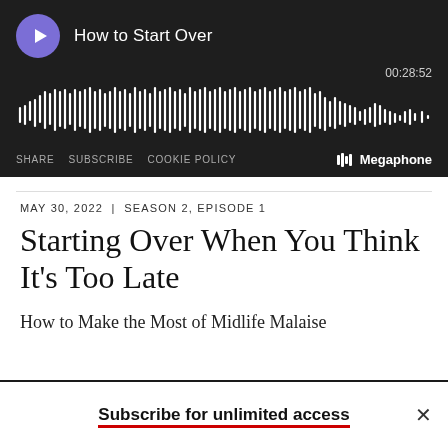[Figure (screenshot): Podcast audio player widget with dark background showing 'How to Start Over' episode title, purple play button, audio waveform visualization, time display 00:28:52, share/subscribe/cookie policy links, and Megaphone branding]
MAY 30, 2022 | SEASON 2, EPISODE 1
Starting Over When You Think It's Too Late
How to Make the Most of Midlife Malaise
Subscribe for unlimited access